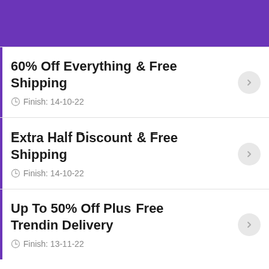[Figure (other): Purple header banner background]
60% Off Everything & Free Shipping
Finish: 14-10-22
Extra Half Discount & Free Shipping
Finish: 14-10-22
Up To 50% Off Plus Free Trendin Delivery
Finish: 13-11-22